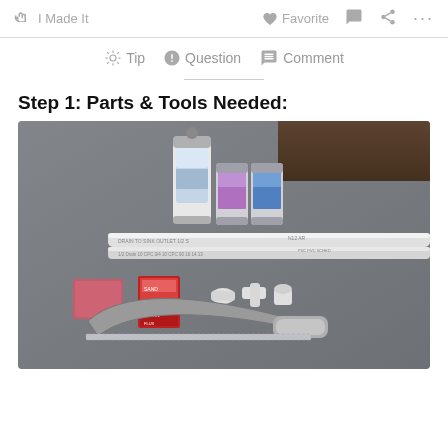✋ I Made It   ♥ Favorite  💬  < ...
💡 Tip  ❓ Question  💬 Comment
Step 1: Parts & Tools Needed:
[Figure (photo): Photo of parts and tools laid out on a grey surface: spray paint cans (white and two smaller cans), two white PVC pipes, PVC fittings/connectors, a red box (sandpaper), a small red package, and a hacksaw.]